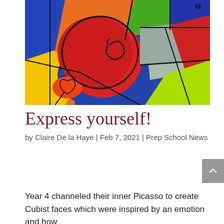[Figure (illustration): Cubist-style artwork by Year 4 students showing abstract faces with bold colors: red, blue, yellow, orange, green, grey. Geometric and organic shapes divided by thick black outlines in a Picasso-inspired style.]
Express yourself!
by Claire De la Haye | Feb 7, 2021 | Prep School News
Year 4 channeled their inner Picasso to create Cubist faces which were inspired by an emotion and how